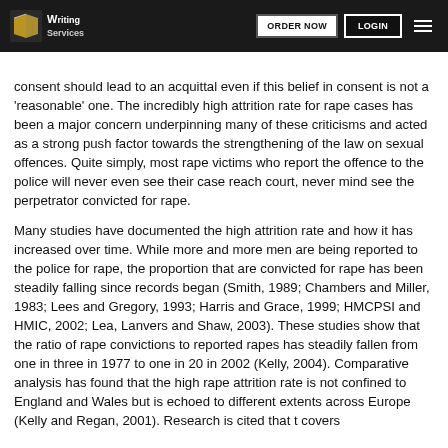Writing Services | ORDER NOW | LOGIN
consent should lead to an acquittal even if this belief in consent is not a 'reasonable' one. The incredibly high attrition rate for rape cases has been a major concern underpinning many of these criticisms and acted as a strong push factor towards the strengthening of the law on sexual offences. Quite simply, most rape victims who report the offence to the police will never even see their case reach court, never mind see the perpetrator convicted for rape.
Many studies have documented the high attrition rate and how it has increased over time. While more and more men are being reported to the police for rape, the proportion that are convicted for rape has been steadily falling since records began (Smith, 1989; Chambers and Miller, 1983; Lees and Gregory, 1993; Harris and Grace, 1999; HMCPSI and HMIC, 2002; Lea, Lanvers and Shaw, 2003). These studies show that the ratio of rape convictions to reported rapes has steadily fallen from one in three in 1977 to one in 20 in 2002 (Kelly, 2004). Comparative analysis has found that the high rape attrition rate is not confined to England and Wales but is echoed to different extents across Europe (Kelly and Regan, 2001). Research is cited that covers...